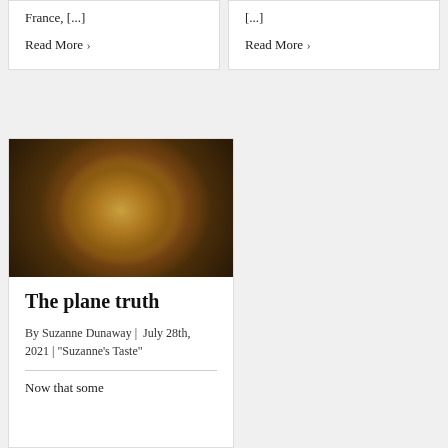France, [...]
Read More ›
[...]
Read More ›
[Figure (photo): A frittata or egg dish cooking in a black cast iron skillet, viewed from above, with golden-brown top and visible vegetable pieces.]
The plane truth
By Suzanne Dunaway | July 28th, 2021 | "Suzanne's Taste"
Now that some